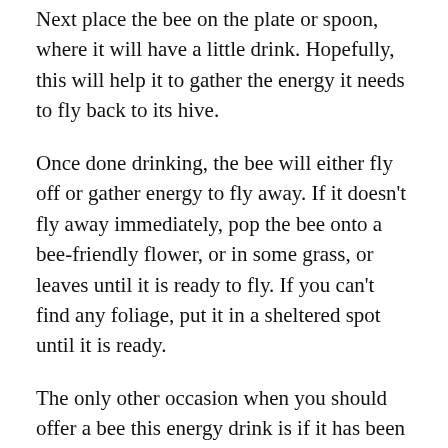Next place the bee on the plate or spoon, where it will have a little drink. Hopefully, this will help it to gather the energy it needs to fly back to its hive.
Once done drinking, the bee will either fly off or gather energy to fly away. If it doesn't fly away immediately, pop the bee onto a bee-friendly flower, or in some grass, or leaves until it is ready to fly. If you can't find any foliage, put it in a sheltered spot until it is ready.
The only other occasion when you should offer a bee this energy drink is if it has been caught in bad weather, and again, is struggling to fly.
Some Dos & Don'ts For Feeding Bees